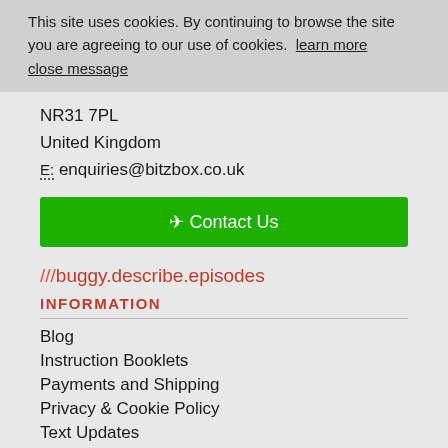This site uses cookies. By continuing to browse the site you are agreeing to our use of cookies.  learn more      close message
NR31 7PL
United Kingdom
E: enquiries@bitzbox.co.uk
Contact Us
///buggy.describe.episodes
INFORMATION
Blog
Instruction Booklets
Payments and Shipping
Privacy & Cookie Policy
Text Updates
Terms & Conditions
Disclaimer
Contact Us
SPONSORS